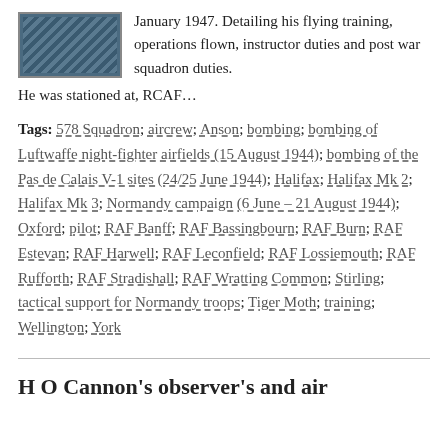[Figure (photo): Small thumbnail image with dark blue/teal pattern or photograph]
January 1947. Detailing his flying training, operations flown, instructor duties and post war squadron duties. He was stationed at, RCAF…
Tags: 578 Squadron; aircrew; Anson; bombing; bombing of Luftwaffe night-fighter airfields (15 August 1944); bombing of the Pas de Calais V-1 sites (24/25 June 1944); Halifax; Halifax Mk 2; Halifax Mk 3; Normandy campaign (6 June – 21 August 1944); Oxford; pilot; RAF Banff; RAF Bassingbourn; RAF Burn; RAF Estevan; RAF Harwell; RAF Leconfield; RAF Lossiemouth; RAF Rufforth; RAF Stradishall; RAF Wratting Common; Stirling; tactical support for Normandy troops; Tiger Moth; training; Wellington; York
H O Cannon's observer's and air